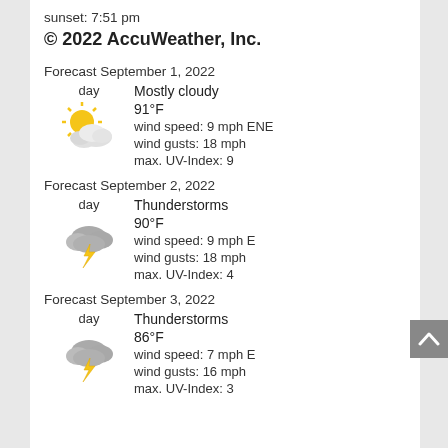sunset: 7:51 pm
© 2022 AccuWeather, Inc.
Forecast September 1, 2022
day
Mostly cloudy
91°F
wind speed: 9 mph ENE
wind gusts: 18 mph
max. UV-Index: 9
Forecast September 2, 2022
day
Thunderstorms
90°F
wind speed: 9 mph E
wind gusts: 18 mph
max. UV-Index: 4
Forecast September 3, 2022
day
Thunderstorms
86°F
wind speed: 7 mph E
wind gusts: 16 mph
max. UV-Index: 3